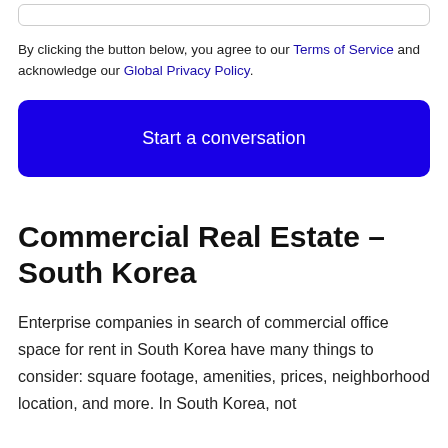[Figure (screenshot): Partial input box at top of page]
By clicking the button below, you agree to our Terms of Service and acknowledge our Global Privacy Policy.
Start a conversation
Commercial Real Estate – South Korea
Enterprise companies in search of commercial office space for rent in South Korea have many things to consider: square footage, amenities, prices, neighborhood location, and more. In South Korea, not